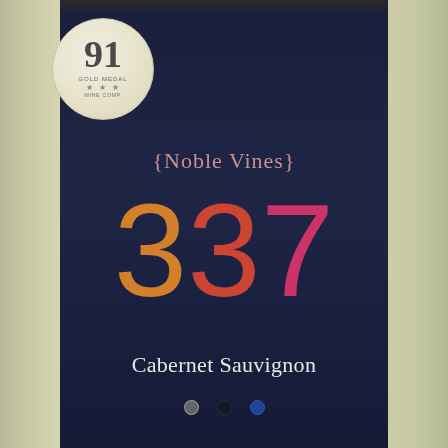[Figure (photo): Close-up photograph of a wine bottle with a dark navy blue label. The label shows the brand name '{Noble Vines}' in pinkish text, a large '337' number in orange-to-red gradient, and 'Cabernet Sauvignon' in white text below. A circular gold award sticker is visible on the upper left of the bottle showing '91' score and 'GOLD MEDAL' text. Three dots appear at the bottom of the label.]